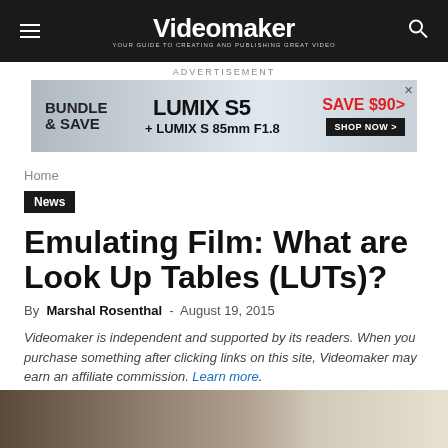Videomaker — Your Guide to Creating and Publishing Great Video
[Figure (other): Advertisement banner: BUNDLE & SAVE | LUMIX S5 + LUMIX S 85mm F1.8 | SAVE $90 | SHOP NOW]
Home
News
Emulating Film: What are Look Up Tables (LUTs)?
By Marshal Rosenthal - August 19, 2015
Videomaker is independent and supported by its readers. When you purchase something after clicking links on this site, Videomaker may earn an affiliate commission. Learn more.
[Figure (photo): Blurred bokeh background image, brown and beige tones, partial view at bottom of page]